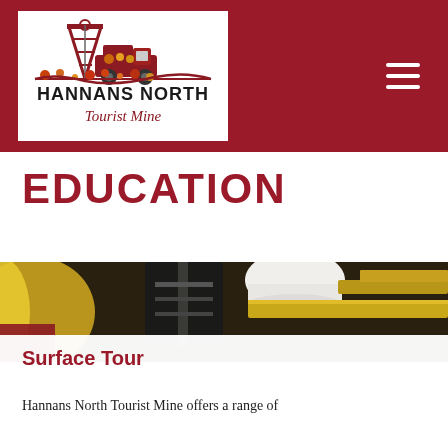[Figure (logo): Hannans North Tourist Mine logo — mining tower and dump truck illustration above bold text HANNANS NORTH and italic script Tourist Mine, on white background within dark red header bar]
HANNANS NORTH Tourist Mine — navigation header with hamburger menu
EDUCATION
[Figure (photo): Close-up photo of mining or industrial equipment — dark device/meter, white helmet, gold/yellow metal bars or rails in background]
Surface Tour
Hannans North Tourist Mine offers a range of